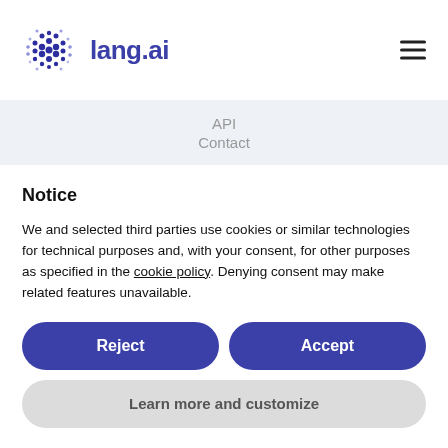[Figure (logo): lang.ai logo with dotted circular pattern in dark blue and the text 'lang.ai' in dark blue]
API
Contact
Notice
We and selected third parties use cookies or similar technologies for technical purposes and, with your consent, for other purposes as specified in the cookie policy. Denying consent may make related features unavailable.
Reject
Accept
Learn more and customize